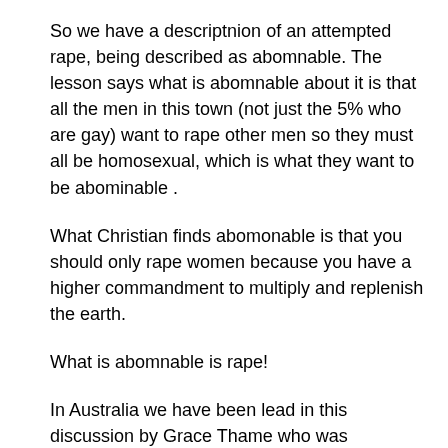So we have a descriptnion of an attempted rape, being described as abomnable. The lesson says what is abomnable about it is that all the men in this town (not just the 5% who are gay) want to rape other men so they must all be homosexual, which is what they want to be abominable .
What Christian finds abomonable is that you should only rape women because you have a higher commandment to multiply and replenish the earth.
What is abomnable is rape!
In Australia we have been lead in this discussion by Grace Thame who was Australian of the year for 2021 who was groomed and repeatedly